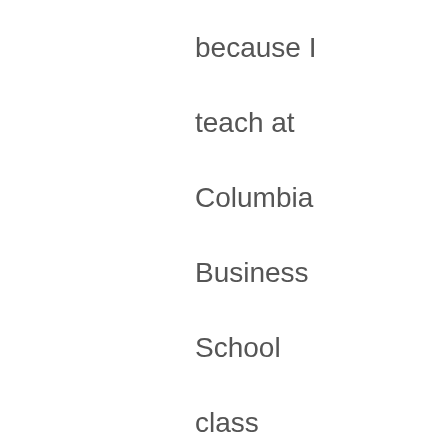because I teach at Columbia Business School class called Managing Conflict in the Family Business. And a lot of the